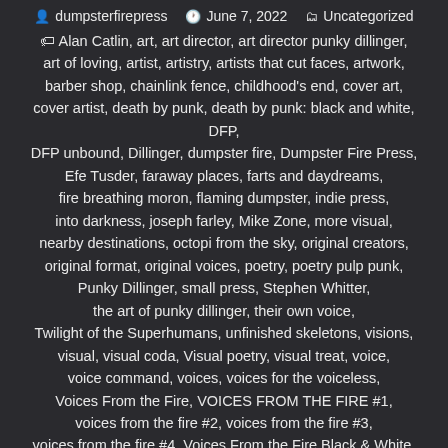dumpsterfirepress  June 7, 2022  Uncategorized
Alan Catlin, art, art director, art director punky dillinger, art of loving, artist, artistry, artists that cut faces, artwork, barber shop, chainlink fence, childhood's end, cover art, cover artist, death by punk, death by punk: black and white, DFP, DFP unbound, Dillinger, dumpster fire, Dumpster Fire Press, Efe Tusder, faraway places, farts and daydreams, fire breathing moron, flaming dumpster, indie press, into darkness, joseph farley, Mike Zone, more visual, nearby destinations, octopi from the sky, original creators, original format, original voices, poetry, poetry pulp punk, Punky Dillinger, small press, Stephen Whitter, the art of punky dillinger, their own voice, Twilight of the Superhumans, unfinished skeletons, visions, visual, visual coda, Visual poetry, visual treat, voice, voice command, voices, voices for the voiceless, Voices From the Fire, VOICES FROM THE FIRE #1, voices from the fire #2, voices from the fire #3, voices from the fire #4, Voices From the Fire Black & White,